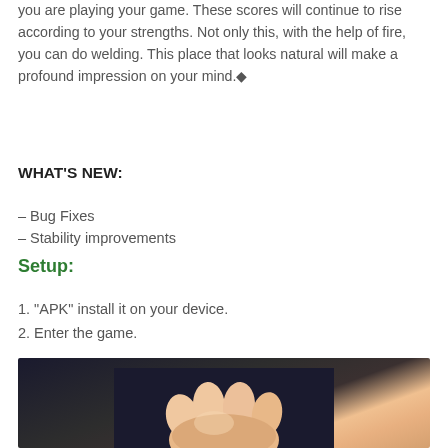you are playing your game. These scores will continue to rise according to your strengths. Not only this, with the help of fire, you can do welding. This place that looks natural will make a profound impression on your mind.◆
WHAT'S NEW:
– Bug Fixes
– Stability improvements
Setup:
1. "APK" install it on your device.
2. Enter the game.
[Figure (photo): A close-up photo of a hand or animal paw against a dark background]